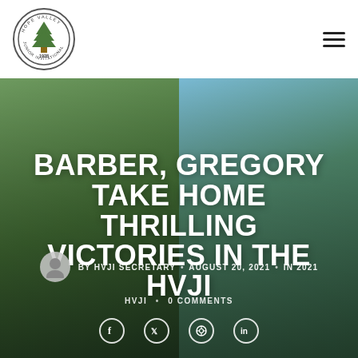Hope Valley Junior Invitational logo and navigation
[Figure (photo): Two junior golf champions holding crystal trophies on a golf course, one wearing a Titleist visor (left) and one wearing a white cap (right), with trees and blue sky in background]
BARBER, GREGORY TAKE HOME THRILLING VICTORIES IN THE HVJI
BY HVJI SECRETARY • AUGUST 20, 2021 • IN 2021
HVJI • 0 COMMENTS